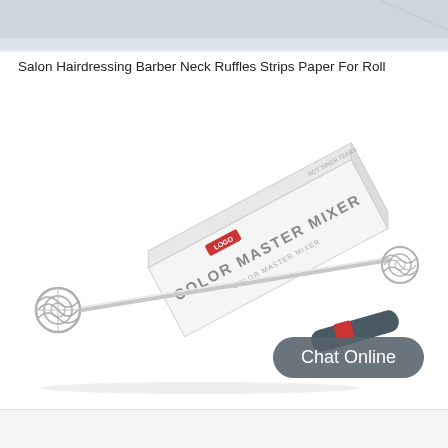[Figure (photo): Top decorative image bar showing partial product image in gray-blue tones]
Salon Hairdressing Barber Neck Ruffles Strips Paper For Roll
[Figure (photo): Color Master Mixer tool shown alongside its white product box. The mixer has a dark gray/teal handle, a long silver metallic rod, and two spiral wire whisk ends. The box reads 'COLOR MASTER MIXER' in large rotated text.]
Chat Online